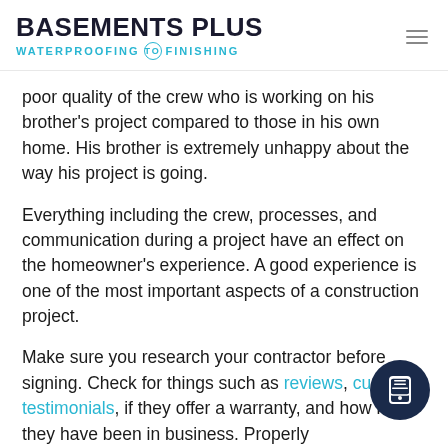BASEMENTS PLUS WATERPROOFING TO FINISHING
poor quality of the crew who is working on his brother's project compared to those in his own home. His brother is extremely unhappy about the way his project is going.
Everything including the crew, processes, and communication during a project have an effect on the homeowner's experience. A good experience is one of the most important aspects of a construction project.
Make sure you research your contractor before signing. Check for things such as reviews, customer testimonials, if they offer a warranty, and how long they have been in business. Properly